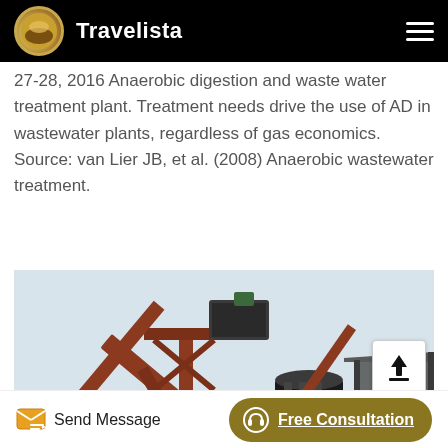Travelista
27-28, 2016 Anaerobic digestion and waste water treatment plant. Treatment needs drive the use of AD in wastewater plants, regardless of gas economics. Source: van Lier JB, et al. (2008) Anaerobic wastewater treatment.
[Figure (photo): Industrial facility showing large rust-colored metal conveyor/crane structures against a light sky, with industrial equipment and a shed visible in the background.]
Send Message
Free Consultation